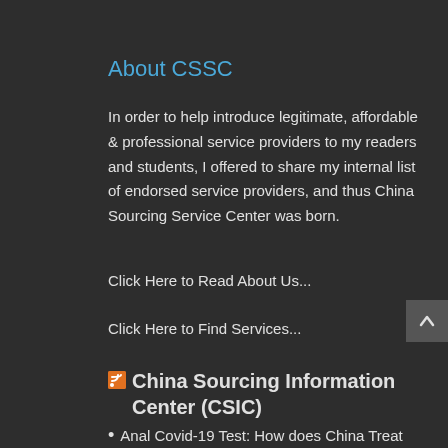About CSSC
In order to help introduce legitimate, affordable & professional service providers to my readers and students, I offered to share my internal list of endorsed service providers, and thus China Sourcing Service Center was born.
Click Here to Read About Us...
Click Here to Find Services...
China Sourcing Information Center (CSIC)
Anal Covid-19 Test: How does China Treat